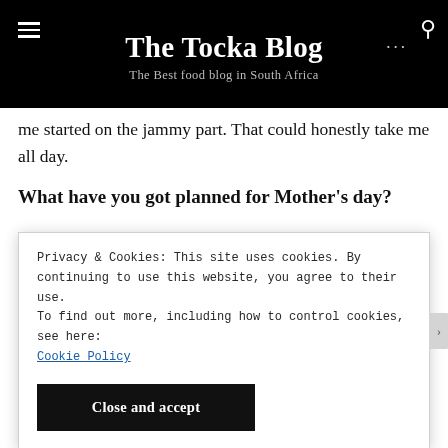The Tocka Blog — The Best food blog in South Africa
me started on the jammy part. That could honestly take me all day.
What have you got planned for Mother's day?
[Figure (photo): Close-up photo of baked food items including caramel/millionaire shortbread and crumble cake slices]
Privacy & Cookies: This site uses cookies. By continuing to use this website, you agree to their use.
To find out more, including how to control cookies, see here: Cookie Policy
Close and accept